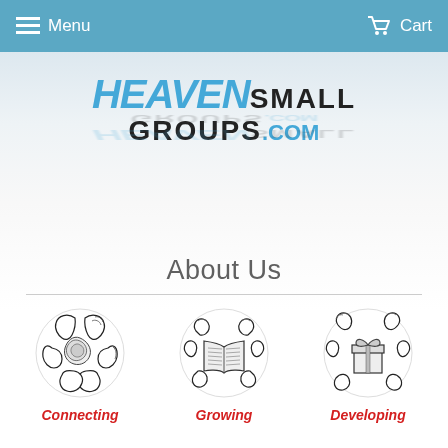Menu  Cart
[Figure (logo): HeavenSmall Groups.com logo with blue italic HEAVEN text, bold dark SMALL GROUPS text, and blue .COM, with a reflection below]
About Us
[Figure (illustration): Three circular illustrations: hands forming a circle (Connecting), hands holding an open book (Growing), hands holding a gift box (Developing)]
Connecting   Growing   Developing